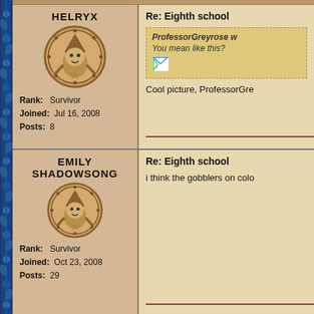HELRYX
[Figure (illustration): Round coin-like avatar with cartoon character wearing a pointed hat]
Rank: Survivor
Joined: Jul 16, 2008
Posts: 8
Re: Eighth school
ProfessorGreyrose w
You mean like this?
[Figure (illustration): Small broken image placeholder]
Cool picture, ProfessorGre
EMILY SHADOWSONG
[Figure (illustration): Round coin-like avatar with cartoon character wearing a pointed hat]
Rank: Survivor
Joined: Oct 23, 2008
Posts: 29
Re: Eighth school
i think the gobblers on colo